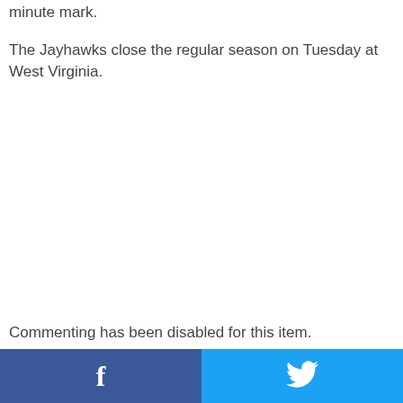minute mark.
The Jayhawks close the regular season on Tuesday at West Virginia.
Commenting has been disabled for this item.
[Figure (other): Social media share buttons: Facebook (dark blue) on the left half and Twitter (light blue) on the right half, each with their respective icons in white.]